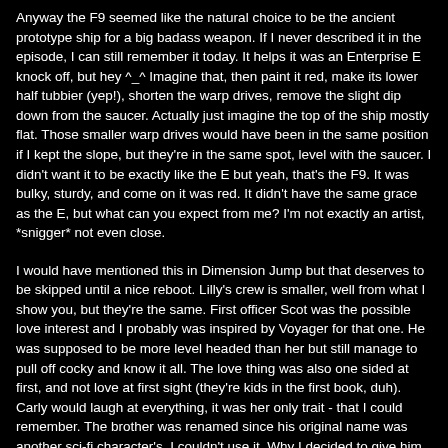Anyway the F9 seemed like the natural choice to be the ancient prototype ship for a big badass weapon. If I never described it in the episode, I can still remember it today. It helps it was an Enterprise E knock off, but hey ^_^ Imagine that, then paint it red, make its lower half tubbier (yep!), shorten the warp drives, remove the slight dip down from the saucer. Actually just imagine the top of the ship mostly flat. Those smaller warp drives would have been in the same position if I kept the slope, but they're in the same spot, level with the saucer. I didn't want it to be exactly like the E but yeah, that's the F9. It was bulky, sturdy, and come on it was red. It didn't have the same grace as the E, but what can you expect from me? I'm not exactly an artist, *snigger* not even close.
I would have mentioned this in Dimension Jump but that deserves to be skipped until a nice reboot. Lilly's crew is smaller, well from what I show you, but they're the same. First officer Scot was the possible love interest and I probably was inspired by Voyager for that one. He was supposed to be more level headed than her but still manage to pull off cocky and know it all. The love thing was also one sided at first, and not love at first sight (they're kids in the first book, duh). Carly would laugh at everything, it was her only trait - that I could remember. The brother was renamed since his original name was another sci-fi character's, I couldn't use it. Why I decided to give him the same name as one of my FV crew, I wish I could tell you. He was mostly the same. The older brother, heir to the throne but *snigger* Lilly was